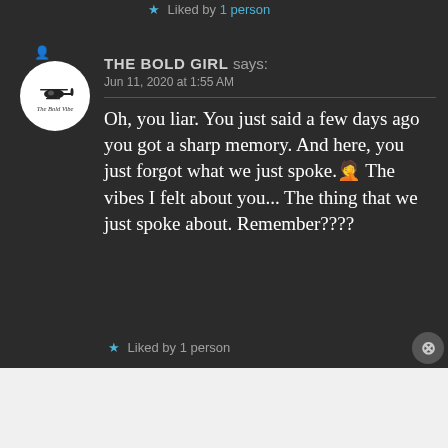Liked by 1 person
THE BOLD GIRL says: Jun 11, 2020 at 1:55 AM
Oh, you liar. You just said a few days ago you got a sharp memory. And here, you just forgot what we just spoke. 🤦 The vibes I felt about you... The thing that we just spoke about. Remember????
Liked by 1 person
Advertisements
AUTOMATTIC
Build a better web and a better world.